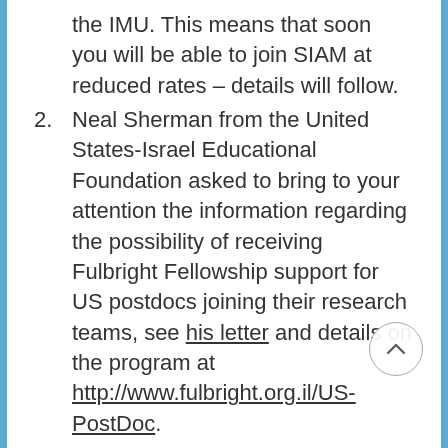the IMU. This means that soon you will be able to join SIAM at reduced rates – details will follow.
2. Neal Sherman from the United States-Israel Educational Foundation asked to bring to your attention the information regarding the possibility of receiving Fulbright Fellowship support for US postdocs joining their research teams, see his letter and details on the program at http://www.fulbright.org.il/US-PostDoc.